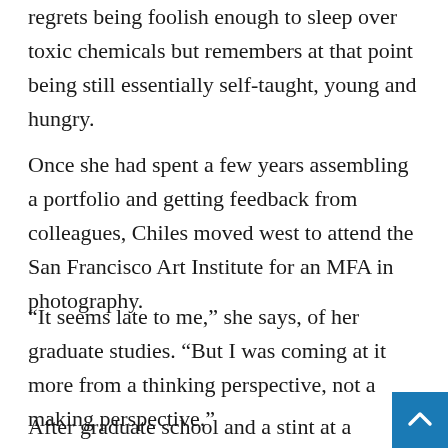regrets being foolish enough to sleep over toxic chemicals but remembers at that point being still essentially self-taught, young and hungry.
Once she had spent a few years assembling a portfolio and getting feedback from colleagues, Chiles moved west to attend the San Francisco Art Institute for an MFA in photography.
“It seems late to me,” she says, of her graduate studies. “But I was coming at it more from a thinking perspective, not a making perspective.”
After graduate school and a stint at a respected photo institution, Fraenkel Gallery, Chiles moved